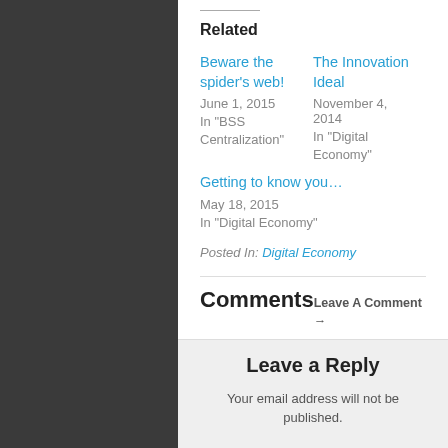Related
Beware the spider's web!
June 1, 2015
In "BSS Centralization"
The Innovation Ideal
November 4, 2014
In "Digital Economy"
Getting to know you…
May 18, 2015
In "Digital Economy"
Posted In: Digital Economy
Comments
Leave A Comment →
Leave a Reply
Your email address will not be published.